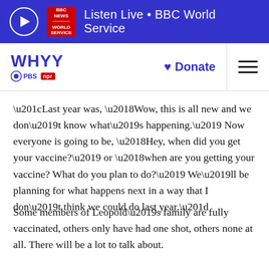[Figure (screenshot): BBC World Service listen live banner with play button, BBC News logo, and text 'Listen Live • BBC World Service' on blue background]
[Figure (logo): WHYY PBS NPR navigation bar with Donate button and hamburger menu]
“Last year was, ‘Wow, this is all new and we don’t know what’s happening.’ Now everyone is going to be, ‘Hey, when did you get your vaccine?’ or ‘when are you getting your vaccine? What do you plan to do?’ We’ll be planning for what happens next in a way that I don’t think we could do last year.”
Some members of Leopold’s family are fully vaccinated, others only have had one shot, others none at all. There will be a lot to talk about.